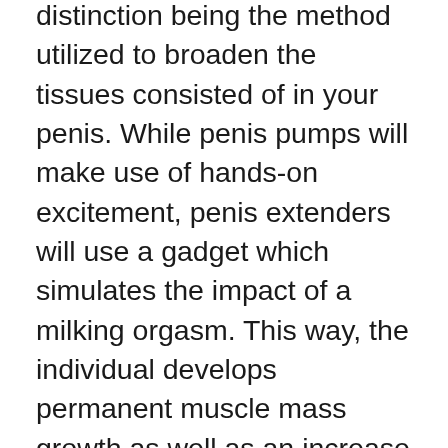distinction being the method utilized to broaden the tissues consisted of in your penis. While penis pumps will make use of hands-on excitement, penis extenders will use a gadget which simulates the impact of a milking orgasm. This way, the individual develops permanent muscle mass growth as well as an increase in dimension. The major downside of the gadget is that it is very simple to come to be bored with the routine which leads to customers quiting their program.
You can discover a lot of info regarding penis extenders as well as penis cots online. Prior to parting with your cash, make sure that you do not get scammed by acquiring a low-cost device that will offer you no outcomes.